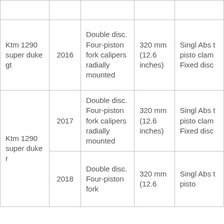| Model | Year | Front Brake | Front Disc Size | Rear Brake |
| --- | --- | --- | --- | --- |
| Ktm 1290 super duke gt | 2016 | Double disc. Four-piston fork calipers radially mounted | 320 mm (12.6 inches) | Single Abs two-piston clamp Fixed disc |
| Ktm 1290 super duke r | 2017 | Double disc. Four-piston fork calipers radially mounted | 320 mm (12.6 inches) | Single Abs two-piston clamp Fixed disc |
| Ktm 1290 super duke r | 2018 | Double disc. Four-piston fork… | 320 mm (12.6…) | Single Abs two-piston… |